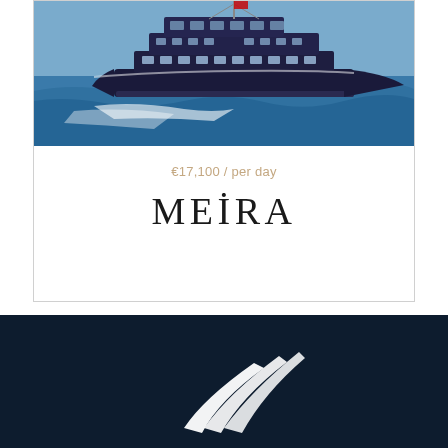[Figure (photo): A large motor yacht with dark navy hull sailing at speed on blue ocean water, photographed from the side]
€17,100 / per day
MEİRA
[Figure (logo): White stylized yacht/sailing logo on dark navy background]